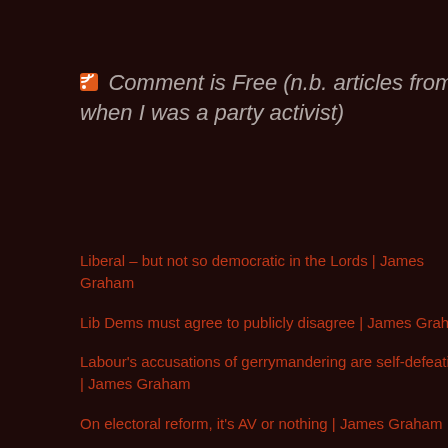Comment is Free (n.b. articles from time when I was a party activist)
Liberal – but not so democratic in the Lords | James Graham
Lib Dems must agree to publicly disagree | James Graham
Labour's accusations of gerrymandering are self-defeating | James Graham
On electoral reform, it's AV or nothing | James Graham
Refusal to enter Lib Dem coalition was Labour's final failure | James Graham
Election 2010: A cruel result for